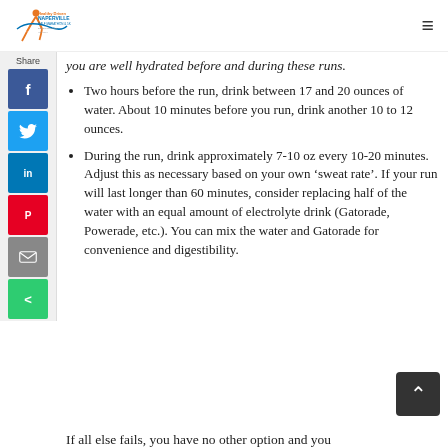Healthy Driven Naperville Half Marathon & 5K
you are well hydrated before and during these runs.
Two hours before the run, drink between 17 and 20 ounces of water. About 10 minutes before you run, drink another 10 to 12 ounces.
During the run, drink approximately 7-10 oz every 10-20 minutes. Adjust this as necessary based on your own ‘sweat rate’. If your run will last longer than 60 minutes, consider replacing half of the water with an equal amount of electrolyte drink (Gatorade, Powerade, etc.). You can mix the water and Gatorade for convenience and digestibility.
If all else fails, you have no other option and you